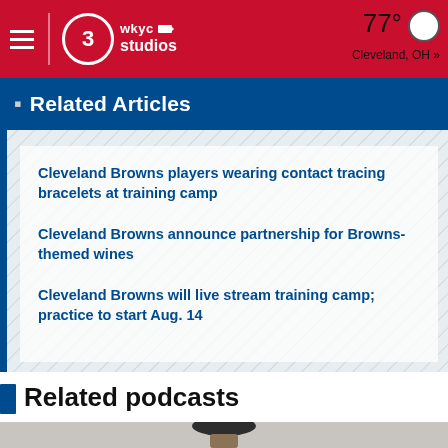WKYC Studios | 77° Cleveland, OH »
Related Articles
Cleveland Browns players wearing contact tracing bracelets at training camp
Cleveland Browns announce partnership for Browns-themed wines
Cleveland Browns will live stream training camp; practice to start Aug. 14
Related podcasts
[Figure (photo): A person seen from behind wearing a striped beanie hat, holding a football]